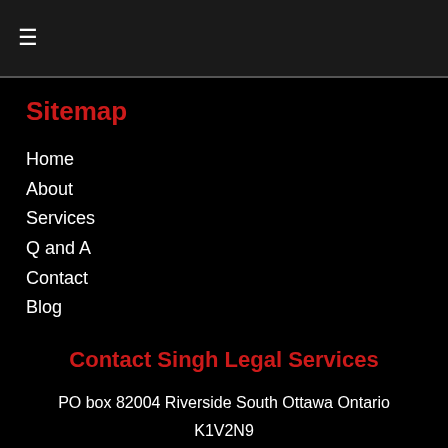≡
Sitemap
Home
About
Services
Q and A
Contact
Blog
Contact Singh Legal Services
PO box 82004 Riverside South Ottawa Ontario K1V2N9
E: info@singhlegalservices.ca
P: 613-851-COMP (2667)